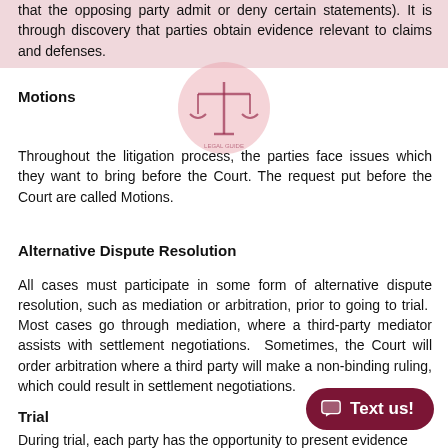that the opposing party admit or deny certain statements). It is through discovery that parties obtain evidence relevant to claims and defenses.
[Figure (illustration): Circular watermark/logo image with a scales of justice icon, pink/rose tinted, partially transparent]
Motions
Throughout the litigation process, the parties face issues which they want to bring before the Court. The request put before the Court are called Motions.
Alternative Dispute Resolution
All cases must participate in some form of alternative dispute resolution, such as mediation or arbitration, prior to going to trial. Most cases go through mediation, where a third-party mediator assists with settlement negotiations. Sometimes, the Court will order arbitration where a third party will make a non-binding ruling, which could result in settlement negotiations.
Trial
During trial, each party has the opportunity to present evidence